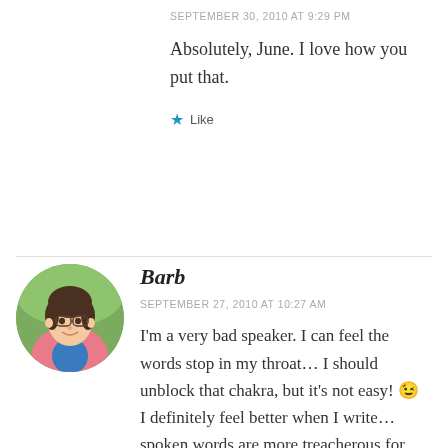SEPTEMBER 30, 2010 AT 9:29 PM
Absolutely, June. I love how you put that.
★ Like
[Figure (photo): Round avatar photo of Barb, a woman in a pink jacket, outdoors with green background]
Barb
SEPTEMBER 27, 2010 AT 10:27 AM
I'm a very bad speaker. I can feel the words stop in my throat… I should unblock that chakra, but it's not easy! 😉
I definitely feel better when I write… spoken words are more treacherous for me…